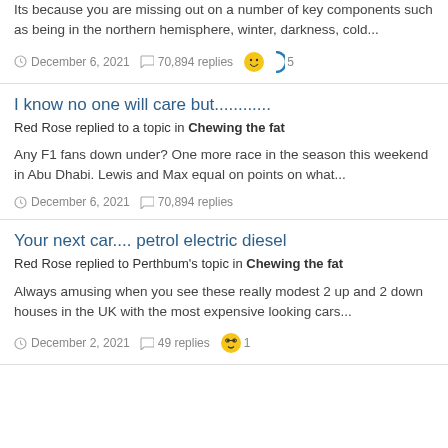Its because you are missing out on a number of key components such as being in the northern hemisphere, winter, darkness, cold...
December 6, 2021   70,894 replies   5
I know no one will care but............
Red Rose replied to a topic in Chewing the fat
Any F1 fans down under? One more race in the season this weekend in Abu Dhabi. Lewis and Max equal on points on what...
December 6, 2021   70,894 replies
Your next car.... petrol electric diesel
Red Rose replied to Perthbum's topic in Chewing the fat
Always amusing when you see these really modest 2 up and 2 down houses in the UK with the most expensive looking cars...
December 2, 2021   49 replies   1